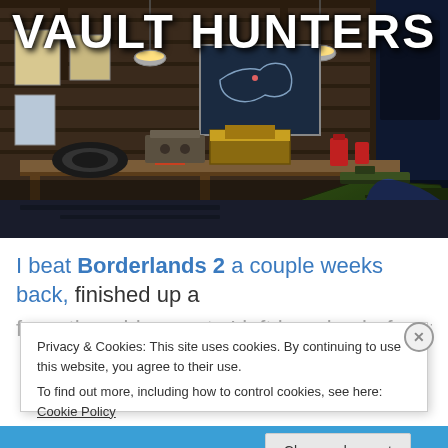[Figure (screenshot): Borderlands 2 game screenshot showing a workshop/garage scene with weapon on the right side. 'VAULT HUNTERS' title text overlaid in large white Impact font at the top.]
I beat Borderlands 2 a couple weeks back, finished up a few other side quests I left hanging before taking on the
Privacy & Cookies: This site uses cookies. By continuing to use this website, you agree to their use.
To find out more, including how to control cookies, see here: Cookie Policy
Close and accept